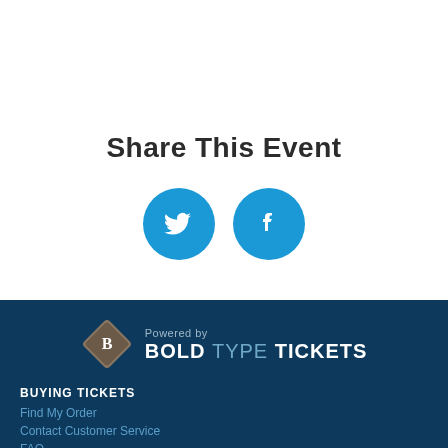Share This Event
[Figure (illustration): Two social media sharing buttons: Twitter (bird icon) and Facebook (f icon), both in blue circles]
[Figure (logo): Bold Type Tickets logo with diamond B icon and text 'Powered by BOLD TYPE TICKETS' on dark blue background]
BUYING TICKETS
Find My Order
Contact Customer Service
FAQ